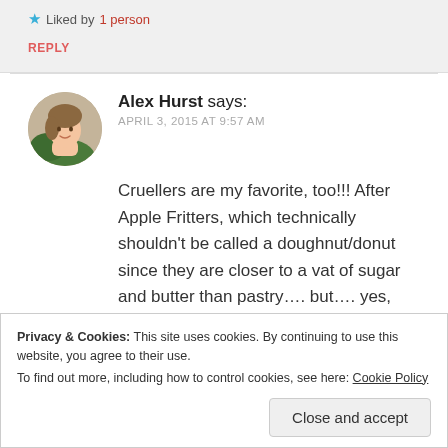★ Liked by 1 person
REPLY
Alex Hurst says:
APRIL 3, 2015 AT 9:57 AM
Cruellers are my favorite, too!!! After Apple Fritters, which technically shouldn't be called a doughnut/donut since they are closer to a vat of sugar and butter than pastry…. but…. yes, cruellers!! 😀 Now I'm hungry. 😛
Privacy & Cookies: This site uses cookies. By continuing to use this website, you agree to their use. To find out more, including how to control cookies, see here: Cookie Policy
Close and accept
APRIL 3, 2015 AT 12:06 PM